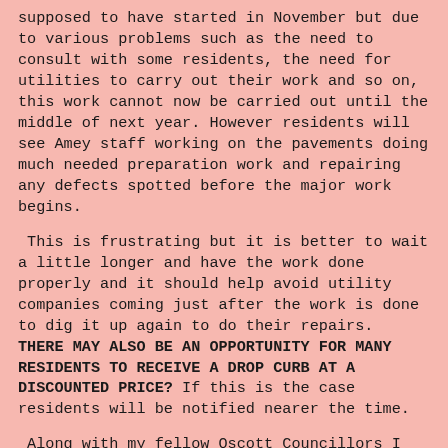supposed to have started in November but due to various problems such as the need to consult with some residents, the need for utilities to carry out their work and so on, this work cannot now be carried out until the middle of next year. However residents will see Amey staff working on the pavements doing much needed preparation work and repairing any defects spotted before the major work begins.
This is frustrating but it is better to wait a little longer and have the work done properly and it should help avoid utility companies coming just after the work is done to dig it up again to do their repairs. THERE MAY ALSO BE AN OPPORTUNITY FOR MANY RESIDENTS TO RECEIVE A DROP CURB AT A DISCOUNTED PRICE? If this is the case residents will be notified nearer the time.
Along with my fellow Oscott Councillors I